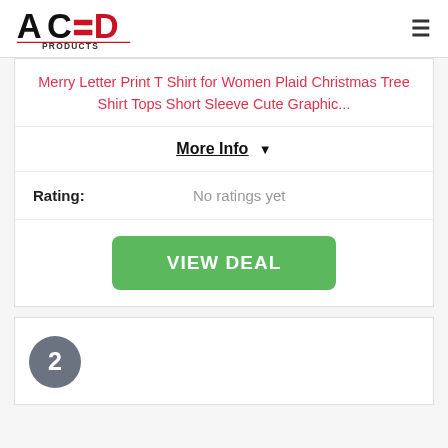ACED PRODUCTS
Merry Letter Print T Shirt for Women Plaid Christmas Tree Shirt Tops Short Sleeve Cute Graphic...
More Info ▾
Rating: No ratings yet
VIEW DEAL
2